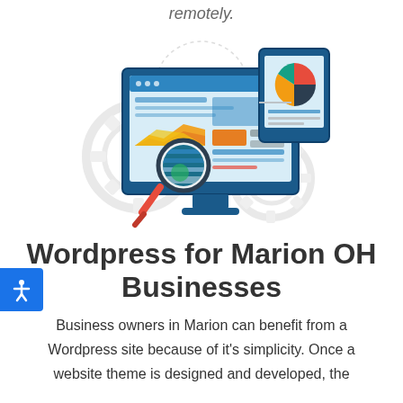remotely.
[Figure (illustration): Illustration of a desktop computer monitor showing a website with charts and data, a magnifying glass overlaid on the screen, a tablet device behind the monitor displaying a pie chart, and gear icons in the background suggesting web analytics or CMS tools.]
Wordpress for Marion OH Businesses
Business owners in Marion can benefit from a Wordpress site because of it's simplicity. Once a website theme is designed and developed, the